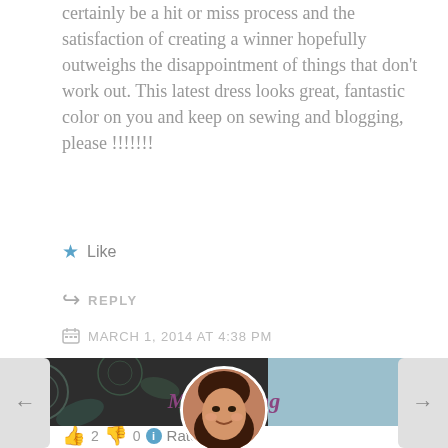certainly be a hit or miss process and the satisfaction of creating a winner hopefully outweighs the disappointment of things that don't work out. This latest dress looks great, fantastic color on you and keep on sewing and blogging, please !!!!!!!
★ Like
↪ REPLY
📅 MARCH 1, 2014 AT 4:38 PM
[Figure (photo): Blog page section with dark patterned banner on left, teal banner on right, circular avatar photo of a woman with dark hair in the center, and navigation arrows on sides]
MaZeLiving
👍 2 👎 0 ℹ Rate This